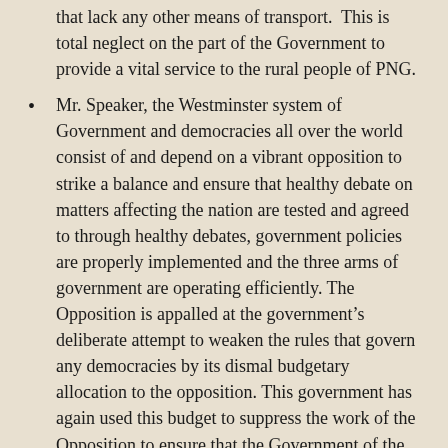that lack any other means of transport.  This is total neglect on the part of the Government to provide a vital service to the rural people of PNG.
Mr. Speaker, the Westminster system of Government and democracies all over the world consist of and depend on a vibrant opposition to strike a balance and ensure that healthy debate on matters affecting the nation are tested and agreed to through healthy debates, government policies are properly implemented and the three arms of government are operating efficiently. The Opposition is appalled at the government's deliberate attempt to weaken the rules that govern any democracies by its dismal budgetary allocation to the opposition. This government has again used this budget to suppress the work of the Opposition to ensure that the Government of the days is answerable to the people of Papua New Guinea through its management of this country.